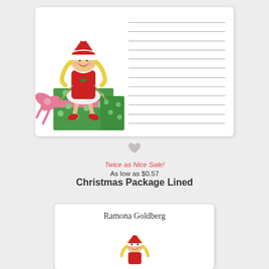[Figure (illustration): Christmas stationery card with a girl elf wearing a Santa hat, sitting on wrapped Christmas presents, with horizontal ruled lines on the right side for writing]
[Figure (illustration): Small grey heart icon]
Twice as Nice Sale!
As low as $0.57
Christmas Package Lined
[Figure (illustration): Preview of personalized notecard with handwritten name 'Ramona Goldberg' and a small elf illustration at bottom]